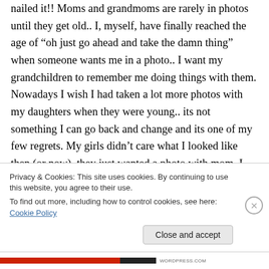nailed it!! Moms and grandmoms are rarely in photos until they get old.. I, myself, have finally reached the age of “oh just go ahead and take the damn thing” when someone wants me in a photo.. I want my grandchildren to remember me doing things with them. Nowadays I wish I had taken a lot more photos with my daughters when they were young.. its not something I can go back and change and its one of my few regrets. My girls didn’t care what I looked like then (or now), they just wanted a photo with mom. I hope
Privacy & Cookies: This site uses cookies. By continuing to use this website, you agree to their use.
To find out more, including how to control cookies, see here: Cookie Policy
Close and accept